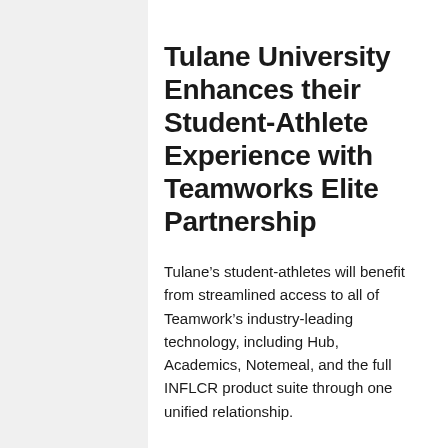Tulane University Enhances their Student-Athlete Experience with Teamworks Elite Partnership
Tulane’s student-athletes will benefit from streamlined access to all of Teamwork’s industry-leading technology, including Hub, Academics, Notemeal, and the full INFLCR product suite through one unified relationship.